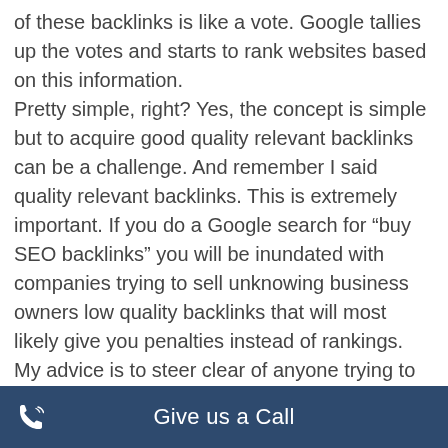of these backlinks is like a vote. Google tallies up the votes and starts to rank websites based on this information. Pretty simple, right? Yes, the concept is simple but to acquire good quality relevant backlinks can be a challenge. And remember I said quality relevant backlinks. This is extremely important. If you do a Google search for “buy SEO backlinks” you will be inundated with companies trying to sell unknowing business owners low quality backlinks that will most likely give you penalties instead of rankings. My advice is to steer clear of anyone trying to sell backlinks. Take the time to do it right or ou.
Give us a Call